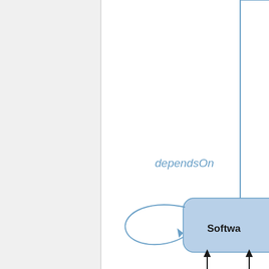[Figure (flowchart): Partial UML/ontology diagram showing a 'SoftwareComponent' node (rounded rectangle, blue fill) with a self-referencing 'dependsOn' arc looping from the node back to itself, indicated by a curved arrow. A vertical blue-outlined rectangle is visible at the top-right, partially cropped. Two upward arrows are visible at the bottom. The left third of the page is a light gray panel separated by a vertical line.]